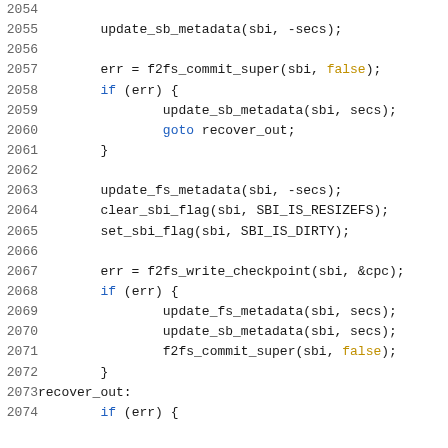Source code listing lines 2054-2074, C code for f2fs filesystem resize operations